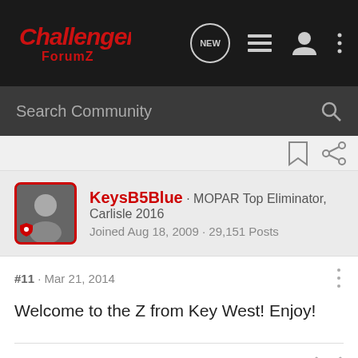Challenger ForumZ — navigation bar with logo, NEW button, list icon, user icon, more icon
Search Community
KeysB5Blue · MOPAR Top Eliminator, Carlisle 2016
Joined Aug 18, 2009 · 29,151 Posts
#11 · Mar 21, 2014
Welcome to the Z from Key West! Enjoy!